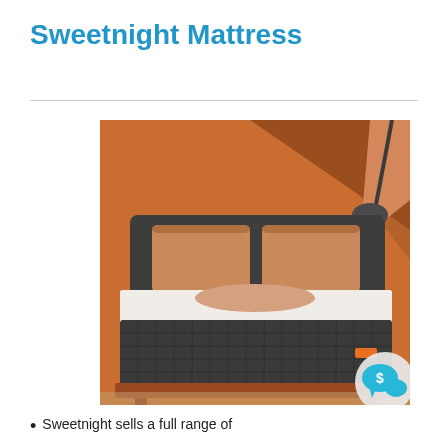Sweetnight Mattress
[Figure (photo): A Sweetnight mattress displayed on a bed frame with orange/rust colored pillows and bedding in a warmly lit bedroom with brown/orange walls. A dark charcoal quilted mattress base is visible. A chat/price bubble icon appears in the lower right corner of the image.]
Sweetnight sells a full range of